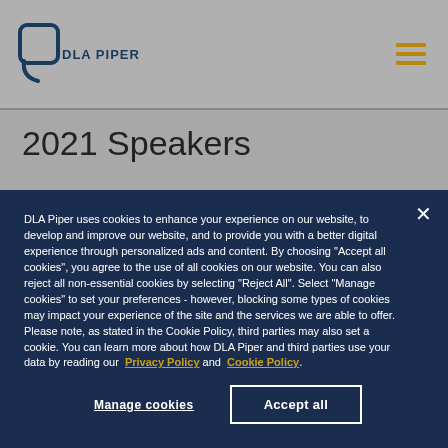[Figure (logo): DLA Piper logo with rounded square icon and text 'DLA PIPER']
2021 Speakers
DLA Piper uses cookies to enhance your experience on our website, to develop and improve our website, and to provide you with a better digital experience through personalized ads and content. By choosing “Accept all cookies”, you agree to the use of all cookies on our website. You can also reject all non-essential cookies by selecting “Reject All”. Select “Manage cookies” to set your preferences - however, blocking some types of cookies may impact your experience of the site and the services we are able to offer. Please note, as stated in the Cookie Policy, third parties may also set a cookie. You can learn more about how DLA Piper and third parties use your data by reading our Privacy Policy and Cookie Policy.